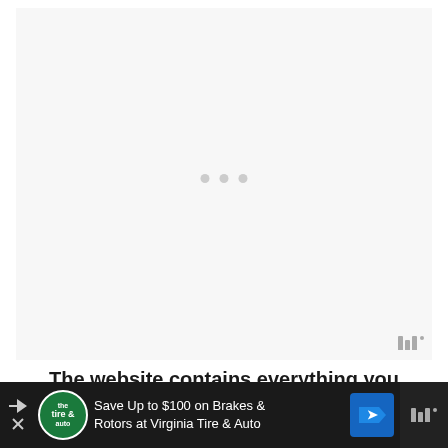[Figure (other): Embedded content loading area with light gray background and three loading dots in the center, plus a widget logo (three bars with a degree symbol) in the bottom-right corner.]
The website contains everything you
[Figure (other): Advertisement bar at the bottom: dark background with play/close arrows on left, Virginia Tire & Auto circular logo, text 'Save Up to $100 on Brakes & Rotors at Virginia Tire & Auto', a blue direction sign icon, and a widget logo on the right.]